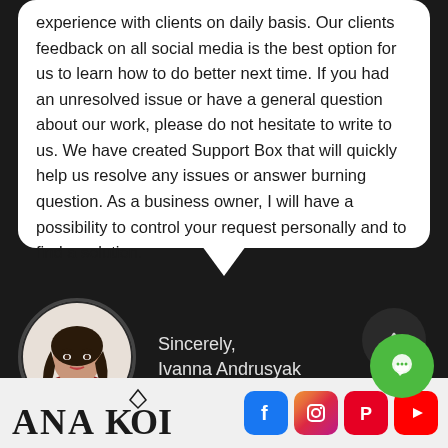experience with clients on daily basis. Our clients feedback on all social media is the best option for us to learn how to do better next time. If you had an unresolved issue or have a general question about our work, please do not hesitate to write to us. We have created Support Box that will quickly help us resolve any issues or answer burning question. As a business owner, I will have a possibility to control your request personally and to find a solution.
[Figure (photo): Circular portrait photo of a woman with long dark hair, wearing a red outfit, against a white background]
Sincerely,
Ivanna Andrusyak
[Figure (logo): ANA KOI brand logo in bold serif font with a diamond/jewel icon above the letter O]
[Figure (infographic): Social media icons: Facebook (blue), Instagram (gradient), Pinterest (red), YouTube (red)]